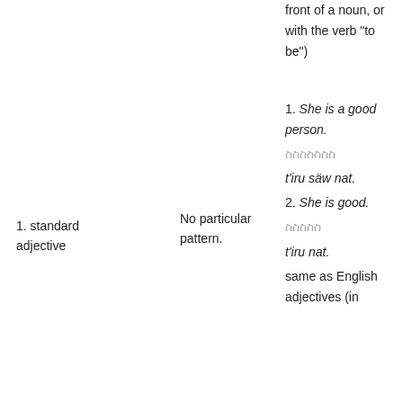front of a noun, or with the verb "to be")
1. She is a good person. [Ethiopic] t'iru säw nat. 2. She is good. [Ethiopic] t'iru nat. same as English adjectives (in
No particular pattern.
1. standard adjective
[Ethiopic]/räjim [Ethiopic]/č'äwa [Ethiopic]/ruk' [Ethiopic]/k'onjo [Ethiopic]/dink'